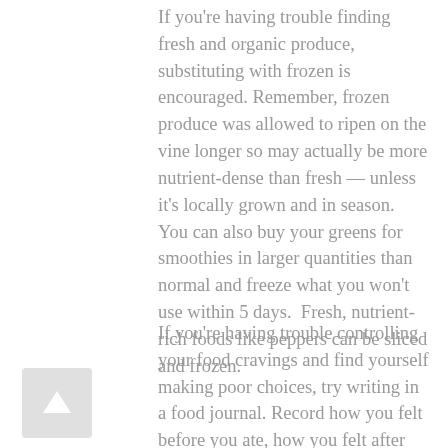If you're having trouble finding fresh and organic produce, substituting with frozen is encouraged. Remember, frozen produce was allowed to ripen on the vine longer so may actually be more nutrient-dense than fresh — unless it's locally grown and in season.  You can also buy your greens for smoothies in larger quantities than normal and freeze what you won't use within 5 days.  Fresh, nutrient-rich foods like peppers can be sliced and frozen.
If you're having trouble controlling your food cravings and find yourself making poor choices, try writing in a food journal. Record how you felt before you ate, how you felt after and in a few days, assess.  You may discover that you make poor choices in times of stress, something we can all experience at times.  Instead of turning to food, try meditating, drinking a glass of water or